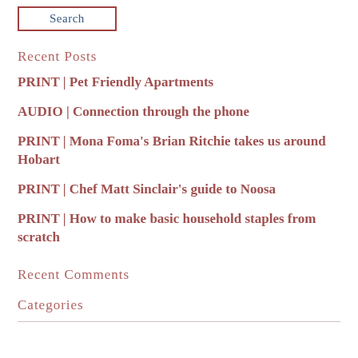Search
Recent Posts
PRINT | Pet Friendly Apartments
AUDIO | Connection through the phone
PRINT | Mona Foma's Brian Ritchie takes us around Hobart
PRINT | Chef Matt Sinclair's guide to Noosa
PRINT | How to make basic household staples from scratch
Recent Comments
Categories